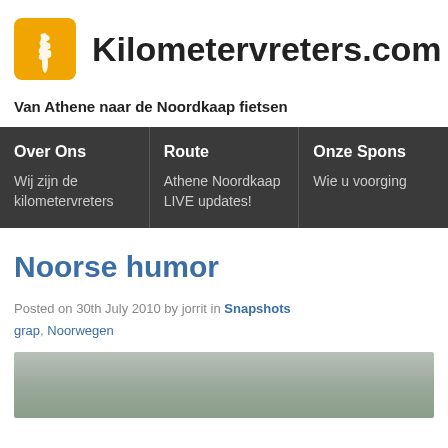Kilometervreters.com
Van Athene naar de Noordkaap fietsen
Over Ons
Wij zijn de kilometervreters
Route
Athene Noordkaap LIVE updates!
Onze Spons
Wie u voorging
Noorse humor
Posted on 30th July 2010 by jorrit in Snapshots grap, Noorwegen
[Figure (photo): Bottom portion of an image, partially visible, showing a grayish-green outdoor scene]